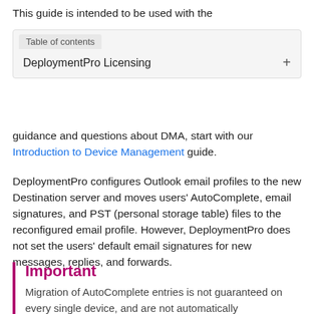This guide is intended to be used with the
Table of contents — DeploymentPro Licensing +
guidance and questions about DMA, start with our Introduction to Device Management guide.
DeploymentPro configures Outlook email profiles to the new Destination server and moves users' AutoComplete, email signatures, and PST (personal storage table) files to the reconfigured email profile. However, DeploymentPro does not set the users' default email signatures for new messages, replies, and forwards.
Important
Migration of AutoComplete entries is not guaranteed on every single device, and are not automatically